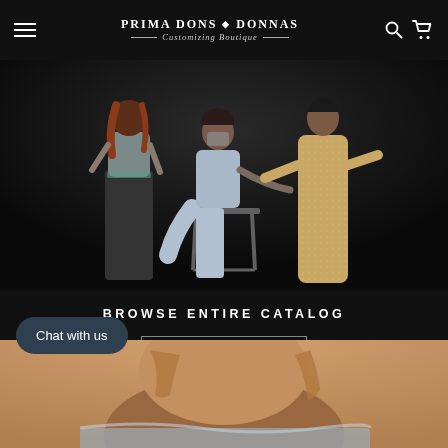Prima Dons ♦ Donnas — Customizing Boutique —
[Figure (photo): Three women modeling fashion outfits against a dark background. Left model wears a grey sparkly top with dark pants, center model sits on a chair wearing silver shiny pants with a face mask, right model wears a gold/beige full-body jumpsuit.]
BROWSE ENTIRE CATALOG
CATALOG
Chat with us
[Figure (photo): Close-up of a woman's face and upper body against a warm beige background, making a hand gesture near her face, wearing a silver/metallic outfit.]